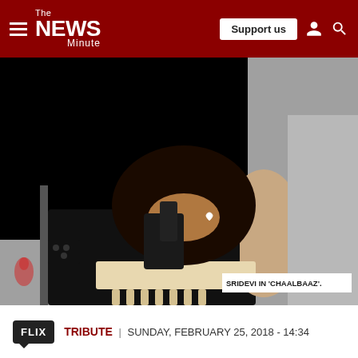The News Minute — Support us
[Figure (photo): Sridevi in 'Chaalbaaz'. A woman in a black outfit with curly hair, wearing a heart-shaped earring and black gloves, holding a phone. Large black area covers upper-left portion of the image.]
SRIDEVI IN 'CHAALBAAZ'.
FLIX TRIBUTE | SUNDAY, FEBRUARY 25, 2018 - 14:34